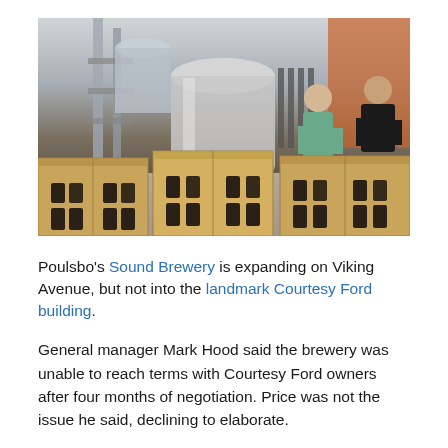[Figure (photo): Two workers at a brewery packaging beer bottles into cardboard boxes. Large stainless steel fermentation tanks visible in the background. Multiple open cardboard boxes filled with dark beer bottles in the foreground.]
Poulsbo's Sound Brewery is expanding on Viking Avenue, but not into the landmark Courtesy Ford building.
General manager Mark Hood said the brewery was unable to reach terms with Courtesy Ford owners after four months of negotiation. Price was not the issue he said, declining to elaborate.